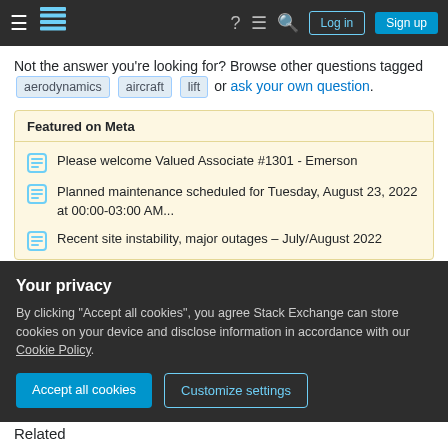Stack Exchange navigation bar with hamburger, logo, help, chat, search, Log in, Sign up
Not the answer you're looking for? Browse other questions tagged aerodynamics aircraft lift or ask your own question.
Featured on Meta
Please welcome Valued Associate #1301 - Emerson
Planned maintenance scheduled for Tuesday, August 23, 2022 at 00:00-03:00 AM...
Recent site instability, major outages – July/August 2022
Linked
Your privacy
By clicking "Accept all cookies", you agree Stack Exchange can store cookies on your device and disclose information in accordance with our Cookie Policy.
Accept all cookies   Customize settings
Related